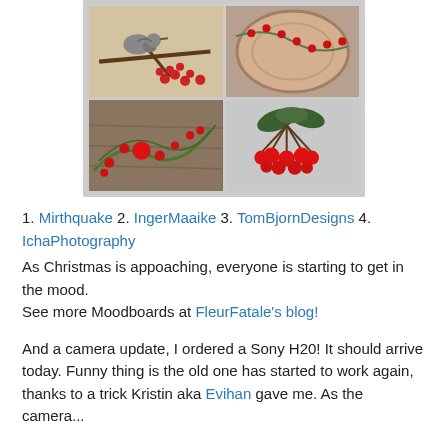[Figure (photo): A 2x2 collage of four photos featuring red berries and Christmas themes: top-left shows a small bird (wren) perched on a branch with red berries, top-right shows a vine with red berries on a wooden surface, bottom-left shows a green vine/garland with red berries on a rustic wooden surface, bottom-right shows a cluster of bright red berries with snowy/grey background.]
1. Mirthquake 2. IngerMaaike 3. TomBjornDesigns 4. IchaPhotography
As Christmas is appoaching, everyone is starting to get in the mood.
See more Moodboards at FleurFatale's blog!
And a camera update, I ordered a Sony H20! It should arrive today. Funny thing is the old one has started to work again, thanks to a trick Kristin aka Evihan gave me. As the camera...